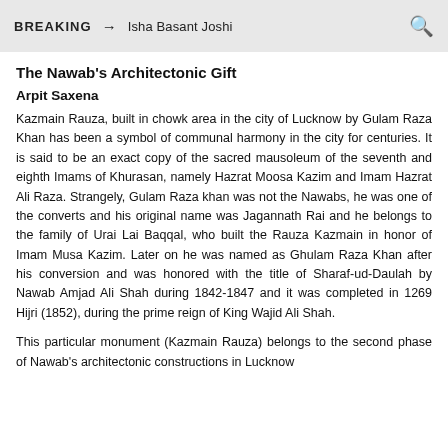BREAKING → Isha Basant Joshi
The Nawab's Architectonic Gift
Arpit Saxena
Kazmain Rauza, built in chowk area in the city of Lucknow by Gulam Raza Khan has been a symbol of communal harmony in the city for centuries. It is said to be an exact copy of the sacred mausoleum of the seventh and eighth Imams of Khurasan, namely Hazrat Moosa Kazim and Imam Hazrat Ali Raza. Strangely, Gulam Raza khan was not the Nawabs, he was one of the converts and his original name was Jagannath Rai and he belongs to the family of Urai Lai Baqqal, who built the Rauza Kazmain in honor of Imam Musa Kazim. Later on he was named as Ghulam Raza Khan after his conversion and was honored with the title of Sharaf-ud-Daulah by Nawab Amjad Ali Shah during 1842-1847 and it was completed in 1269 Hijri (1852), during the prime reign of King Wajid Ali Shah.
This particular monument (Kazmain Rauza) belongs to the second phase of Nawab's architectonic constructions in Lucknow